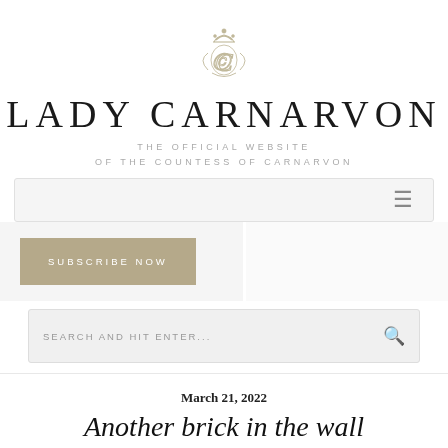[Figure (logo): Lady Carnarvon monogram crest with crown]
LADY CARNARVON
THE OFFICIAL WEBSITE OF THE COUNTESS OF CARNARVON
[Figure (screenshot): Navigation bar with hamburger menu icon]
SUBSCRIBE NOW
SEARCH AND HIT ENTER...
March 21, 2022
Another brick in the wall